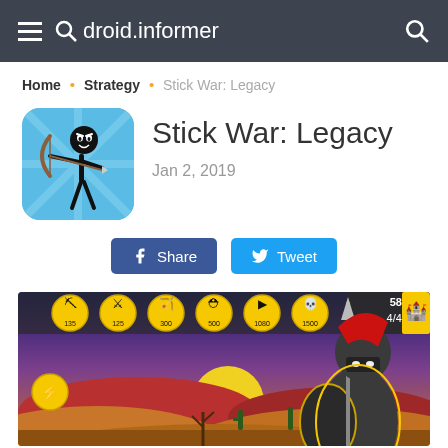droid.informer
Home · Strategy · Stick War: Legacy
[Figure (illustration): Stick War: Legacy app icon showing a black stick figure archer drawing a bow against a blue ray background]
Stick War: Legacy
Jan 2, 2019
Share  Tweet
[Figure (screenshot): Stick War: Legacy gameplay screenshot showing a desert battle scene with a spartan warrior holding a spear and shield, yellow unit icons at top, sunset sky background]